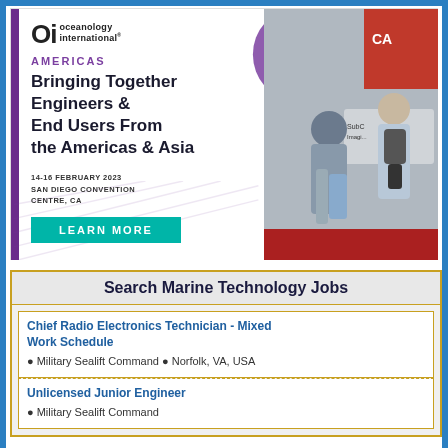[Figure (advertisement): Oceanology International Americas conference advertisement. Shows Oi logo, tagline 'Bringing Together Engineers & End Users From the Americas & Asia', date 14-16 February 2023, San Diego Convention Centre, CA, with a teal LEARN MORE button and photo of conference attendees.]
Search Marine Technology Jobs
Chief Radio Electronics Technician - Mixed Work Schedule
• Military Sealift Command • Norfolk, VA, USA
Unlicensed Junior Engineer
• Military Sealift Command